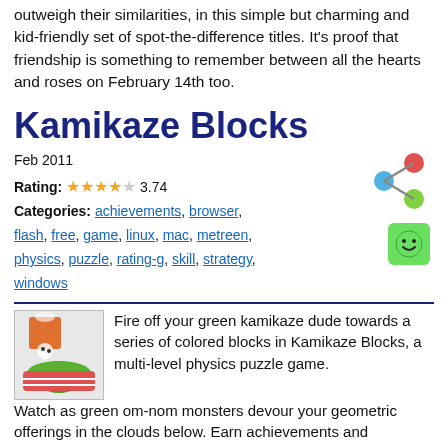outweigh their similarities, in this simple but charming and kid-friendly set of spot-the-difference titles. It's proof that friendship is something to remember between all the hearts and roses on February 14th too.
Kamikaze Blocks
Feb 2011
Rating: ★★★★☆ 3.74
Categories: achievements, browser, flash, free, game, linux, mac, metreen, physics, puzzle, rating-g, skill, strategy, windows
Fire off your green kamikaze dude towards a series of colored blocks in Kamikaze Blocks, a multi-level physics puzzle game. Watch as green om-nom monsters devour your geometric offerings in the clouds below. Earn achievements and challenge yourself in Puzzle or Arcade mode.
Link Dump Friday